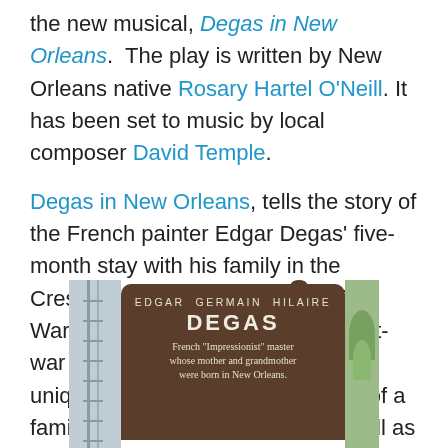the new musical, Degas in New Orleans. The play is written by New Orleans native Rosary Hartel O'Neill. It has been set to music by local composer David Temple.
Degas in New Orleans, tells the story of the French painter Edgar Degas' five-month stay with his family in the Crescent City shortly after the Civil War. It reveals much about the post-war South, political and ethnic strife unique to Louisiana, the dynamics of a family in its social descent — as well as the passions of unrequited love, and the struggling vision of a great artist at a crossroads in his life and career.
[Figure (photo): A brown historical marker sign reading 'EDGAR GERMAIN HILAIRE DEGAS — French Impressionist master whose mother and grandmother were born in New Orleans.' Partial building and greenery visible on the sides.]